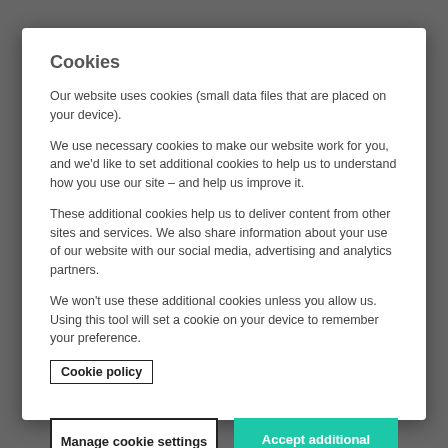Cookies
Our website uses cookies (small data files that are placed on your device).
We use necessary cookies to make our website work for you, and we'd like to set additional cookies to help us to understand how you use our site – and help us improve it.
These additional cookies help us to deliver content from other sites and services. We also share information about your use of our website with our social media, advertising and analytics partners.
We won't use these additional cookies unless you allow us. Using this tool will set a cookie on your device to remember your preference.
Cookie policy
Manage cookie settings
Accept additional cookies